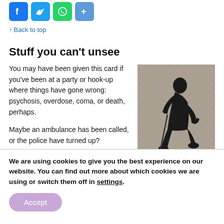[Figure (illustration): Social media share buttons: Facebook (blue), Twitter (blue), WhatsApp (green), Share/plus (blue)]
↑ Back to top
Stuff you can't unsee
You may have been given this card if you've been at a party or hook-up where things have gone wrong: psychosis, overdose, coma, or death, perhaps.
[Figure (illustration): A figure of a person sitting hunched over in a thinking pose, rendered in dark silhouette against a checkered mosaic background in muted colors.]
Maybe an ambulance has been called, or the police have turned up?
When these things happen, it can be difficult...
We are using cookies to give you the best experience on our website. You can find out more about which cookies we are using or switch them off in settings.
Accept